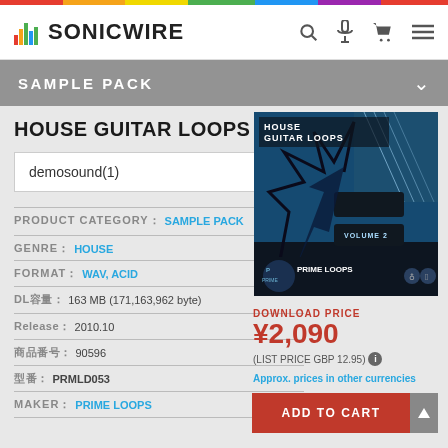SONICWIRE
SAMPLE PACK
HOUSE GUITAR LOOPS 2
demosound(1)
PRODUCT CATEGORY : SAMPLE PACK
GENRE : HOUSE
FORMAT : WAV, ACID
DL容量 : 163 MB (171,163,962 byte)
Release : 2010.10
商品番号 : 90596
型番 : PRMLD053
MAKER : PRIME LOOPS
[Figure (illustration): Album cover for House Guitar Loops Volume 2 by Prime Loops, showing a blue electric guitar on a dark background with stylized graphics]
DOWNLOAD PRICE ¥2,090
(LIST PRICE GBP 12.95)
Approx. prices in other currencies
ADD TO CART